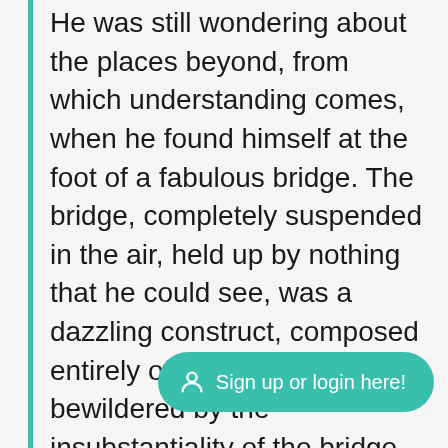He was still wondering about the places beyond, from which understanding comes, when he found himself at the foot of a fabulous bridge. The bridge, completely suspended in the air, held up by nothing that he could see, was a dazzling construct, composed entirely of mist. He was bewildered by the insubstantiality of the bridge. It too seemed to be made of light, of air, of feeling. He was afraid to step on it, for fear he would plunge down below.
[Figure (other): A teal/green rounded pill-shaped button with a person/user icon and the text 'Sign up or login here!']